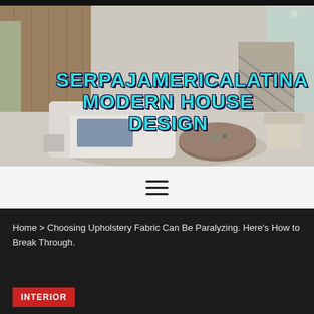[Figure (photo): Modern luxury living room interior with open floor plan, light wood paneling, recessed lighting, large windows, white sectional sofa, round wooden coffee table, and staircase in background]
SERPAJAMERICALATINA MODERN HOUSE DESIGN
[Figure (other): Hamburger menu icon — three horizontal lines]
Home > Choosing Upholstery Fabric Can Be Paralyzing. Here's How to Break Through.
INTERIOR